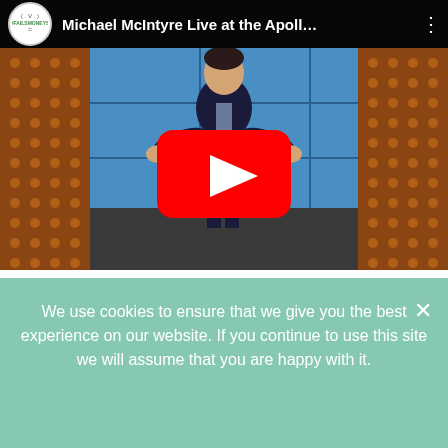[Figure (screenshot): YouTube video embed showing Michael McIntyre Live at the Apollo. The video thumbnail shows a comedian on stage with a brown dotted curtain background and blue panels. A large red YouTube play button is overlaid in the center. The top bar shows a channel logo (circular white badge with green text) and the video title 'Michael McIntyre Live at the Apoll...' with a three-dot menu icon.]
We use cookies to ensure that we give you the best experience on our website. If you continue to use this site we will assume that you are happy with it.